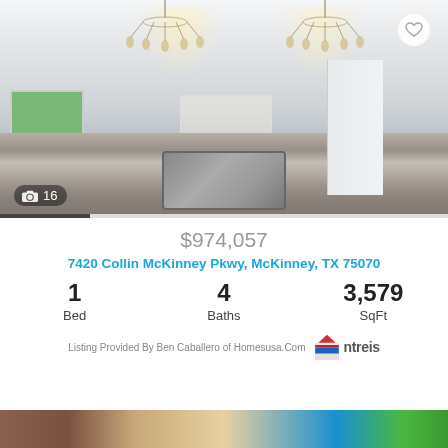[Figure (photo): Interior kitchen photo of a luxury home showing granite island with sink, pendant chandeliers, open floor plan with living area visible, white cabinetry, and sliding doors to backyard. Photo count badge showing camera icon and '16'.]
$974,057
7420 Collin McKinney Pkwy, McKinney, TX 75070
1 Bed  4 Baths  3,579 SqFt
Listing Provided By Ben Caballero of Homesusa.Com
[Figure (logo): ntreis logo with stylized house/building icon in red, white, and blue colors, followed by the text 'ntreis']
[Figure (photo): Partial view of another property listing photo at the bottom — brick exterior with blue sky and greenery visible.]